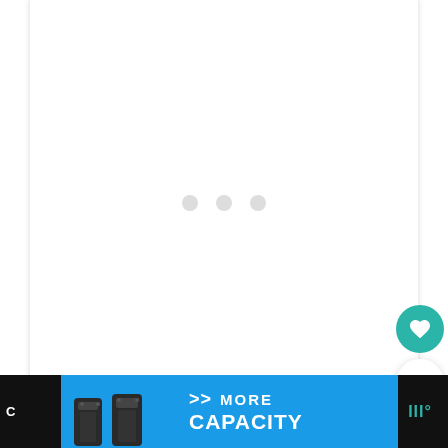[Figure (screenshot): White content area with loading indicator showing three light gray dots in the center, representing a loading/spinner state for a web page image carousel]
[Figure (screenshot): Floating action buttons on the right side: teal heart/favorite button, a count button showing '1', and a share button with share icon]
[Figure (screenshot): Bottom advertisement banner on black background showing gun magazine products with text 'MORE CAPACITY' and arrows, alongside a brand logo 'III°']